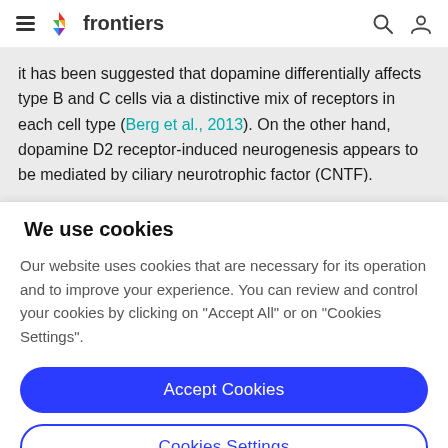frontiers
it has been suggested that dopamine differentially affects type B and C cells via a distinctive mix of receptors in each cell type (Berg et al., 2013). On the other hand, dopamine D2 receptor-induced neurogenesis appears to be mediated by ciliary neurotrophic factor (CNTF)...
We use cookies
Our website uses cookies that are necessary for its operation and to improve your experience. You can review and control your cookies by clicking on "Accept All" or on "Cookies Settings".
Accept Cookies
Cookies Settings